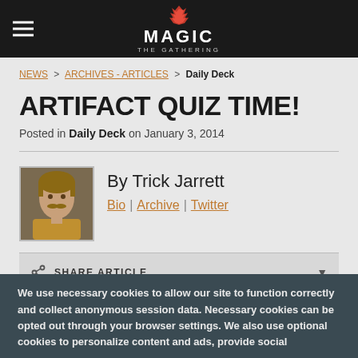Magic: The Gathering — site header with hamburger menu and logo
NEWS > ARCHIVES - ARTICLES > Daily Deck
ARTIFACT QUIZ TIME!
Posted in Daily Deck on January 3, 2014
[Figure (photo): Author photo of Trick Jarrett]
By Trick Jarrett
Bio | Archive | Twitter
SHARE ARTICLE
We use necessary cookies to allow our site to function correctly and collect anonymous session data. Necessary cookies can be opted out through your browser settings. We also use optional cookies to personalize content and ads, provide social